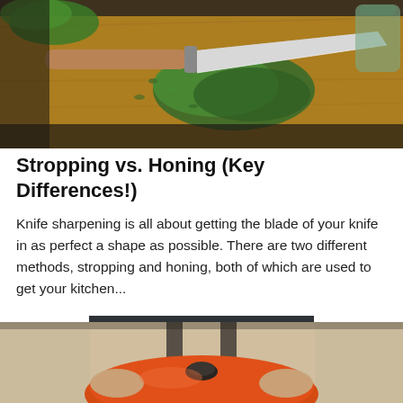[Figure (photo): A chef's knife with a wooden handle resting on a wooden cutting board, surrounded by fresh herbs including dill and other green leaves.]
Stropping vs. Honing (Key Differences!)
Knife sharpening is all about getting the blade of your knife in as perfect a shape as possible. There are two different methods, stropping and honing, both of which are used to get your kitchen…
CONTINUE READING
[Figure (photo): A person in a beige sweater holding an orange lid of a cast iron pot or Dutch oven.]